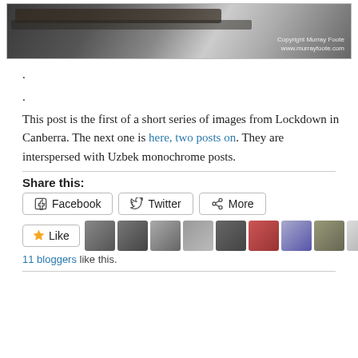[Figure (photo): Black and white close-up photo of a branch with copyright text 'Copyright Murray Foote www.murrayfoote.com' in bottom right]
.
.
This post is the first of a short series of images from Lockdown in Canberra.  The next one is here, two posts on.  They are interspersed with Uzbek monochrome posts.
Share this:
Facebook   Twitter   More
Like   [11 blogger avatars]
11 bloggers like this.